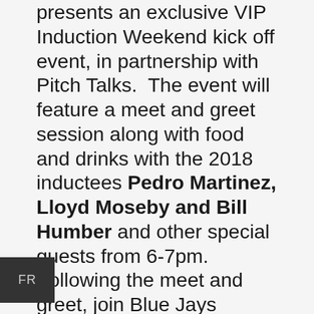presents an exclusive VIP Induction Weekend kick off event, in partnership with Pitch Talks.  The event will feature a meet and greet session along with food and drinks with the 2018 inductees Pedro Martinez, Lloyd Moseby and Bill Humber and other special guests from 6-7pm. Following the meet and greet, join Blue Jays broadcaster Dan Shulman and the 2018 Inductees on stage for a special Pitch Talks panel. Following the panel Ashley [Docking] will be on stage with Blue Jays [broad]casters Kevin Barker and Dan